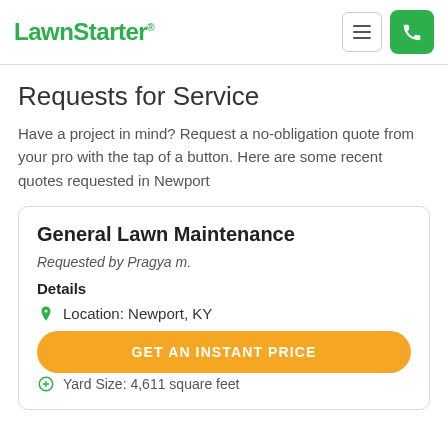LawnStarter
Requests for Service
Have a project in mind? Request a no-obligation quote from your pro with the tap of a button. Here are some recent quotes requested in Newport
General Lawn Maintenance
Requested by Pragya m.
Details
Location: Newport, KY
Yard Size: 4,611 square feet